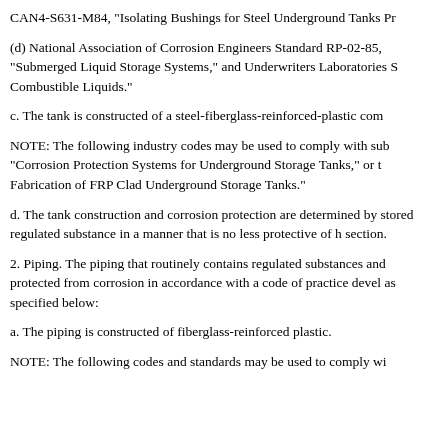CAN4-S631-M84, "Isolating Bushings for Steel Underground Tanks Pr
(d) National Association of Corrosion Engineers Standard RP-02-85, "Submerged Liquid Storage Systems," and Underwriters Laboratories S Combustible Liquids."
c. The tank is constructed of a steel-fiberglass-reinforced-plastic com
NOTE: The following industry codes may be used to comply with sub "Corrosion Protection Systems for Underground Storage Tanks," or t Fabrication of FRP Clad Underground Storage Tanks."
d. The tank construction and corrosion protection are determined by stored regulated substance in a manner that is no less protective of h section.
2. Piping. The piping that routinely contains regulated substances and protected from corrosion in accordance with a code of practice devel as specified below:
a. The piping is constructed of fiberglass-reinforced plastic.
NOTE: The following codes and standards may be used to comply wi